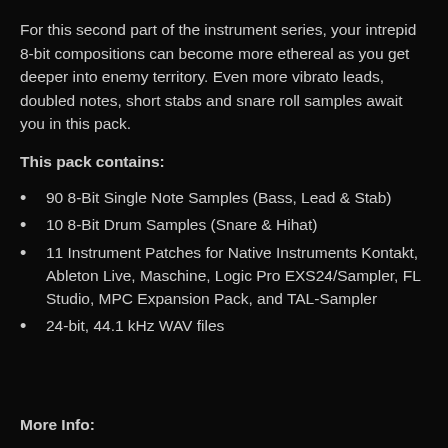For this second part of the instrument series, your intrepid 8-bit compositions can become more ethereal as you get deeper into enemy territory. Even more vibrato leads, doubled notes, short stabs and snare roll samples await you in this pack.
This pack contains:
90 8-Bit Single Note Samples (Bass, Lead & Stab)
10 8-Bit Drum Samples (Snare & Hihat)
11 Instrument Patches for Native Instruments Kontakt, Ableton Live, Maschine, Logic Pro EXS24/Sampler, FL Studio, MPC Expansion Pack, and TAL-Sampler
24-bit, 44.1 kHz WAV files
More Info: